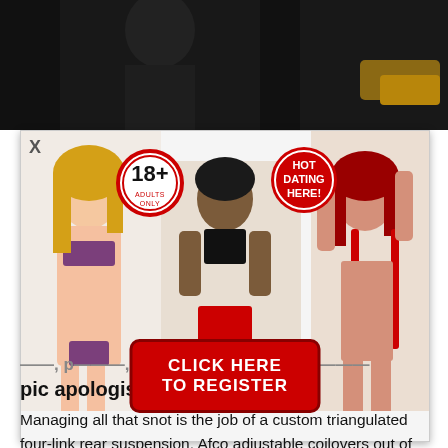[Figure (photo): Dark background photo at top of page, showing partial figures in dark/shadow]
[Figure (other): Adult dating advertisement overlay with 18+ badge, HOT DATING HERE badge, three female models, and a red CLICK HERE TO REGISTER button]
pic apologise
Managing all that snot is the job of a custom triangulated four-link rear suspension, Afco adjustable coilovers out of Troy Perez's Innovative